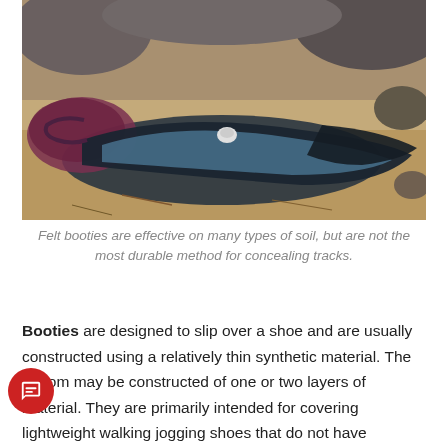[Figure (photo): Photo of worn felt booties lying on sandy/dirt ground. The booties appear to be dark colored, worn, and partially unfolded, lying on dry soil with some twigs and rocks visible.]
Felt booties are effective on many types of soil, but are not the most durable method for concealing tracks.
Booties are designed to slip over a shoe and are usually constructed using a relatively thin synthetic material. The bottom may be constructed of one or two layers of material. They are primarily intended for covering lightweight walking jogging shoes that do not have aggressive treads. durability of the fabric is only marginally greater than the same thickness of burlap. Booties do not break down in the